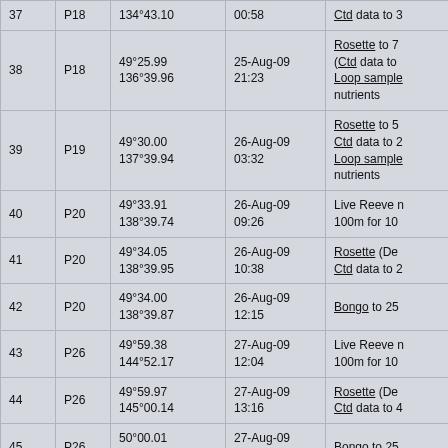| # | Station | Coordinates | Date/Time | Activity |
| --- | --- | --- | --- | --- |
| 37 | P18 | 134°43.10 | 00:58 | Ctd data to 3... |
| 38 | P18 | 49°25.99
136°39.96 | 25-Aug-09
21:23 | Rosette to 7...
(Ctd data to...
Loop sample...
nutrients |
| 39 | P19 | 49°30.00
137°39.94 | 26-Aug-09
03:32 | Rosette to 5...
Ctd data to 2...
Loop sample...
nutrients |
| 40 | P20 | 49°33.91
138°39.74 | 26-Aug-09
09:26 | Live Reeve n...
100m for 10... |
| 41 | P20 | 49°34.05
138°39.95 | 26-Aug-09
10:38 | Rosette (De...
Ctd data to 2... |
| 42 | P20 | 49°34.00
138°39.87 | 26-Aug-09
12:15 | Bongo to 25... |
| 43 | P26 | 49°59.38
144°52.17 | 27-Aug-09
12:04 | Live Reeve n...
100m for 10... |
| 44 | P26 | 49°59.97
145°00.14 | 27-Aug-09
13:16 | Rosette (De...
Ctd data to 4... |
| 45 | P26 | 50°00.01
145°00.00 | 27-Aug-09
17:34 | Bongo to 25... |
| 46 | P26 | 49°59.99
145°00.02 | 27-Aug-09
17:53 | Rosette (UB...
Ctd data to 2... |
| 47 | P26 | 50°00.01
144°59.88 | 27-Aug-09
19:57 | Rosette (Sh...
Ctd data to 1... |